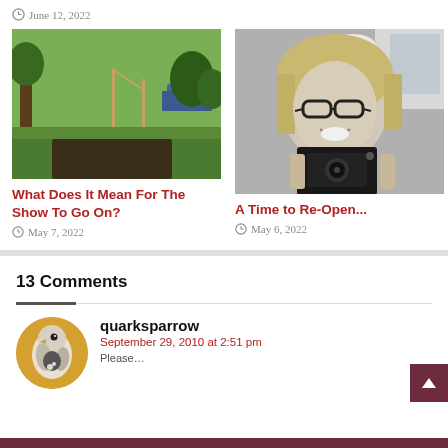June 12, 2022
[Figure (photo): Outdoor field with trees and a vehicle in background, garden/planting area in foreground]
[Figure (photo): Black and white portrait of a smiling woman with glasses holding a camera or instrument]
What Does It Mean For The Show To Go On?
May 7, 2022
A Time to Re-Open...
May 6, 2022
13 Comments
[Figure (illustration): Avatar/profile illustration of a bird or creature on a yellow/gold circular background]
quarksparrow
September 29, 2010 at 2:51 pm